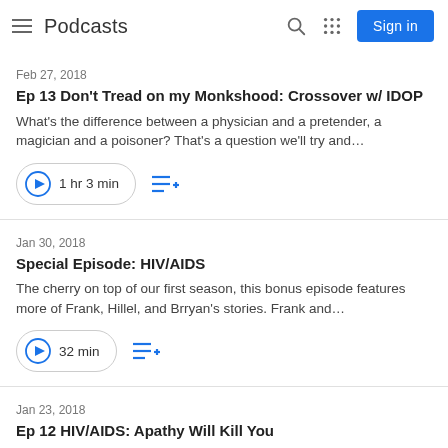Podcasts — Sign in
Feb 27, 2018
Ep 13 Don't Tread on my Monkshood: Crossover w/ IDOP
What's the difference between a physician and a pretender, a magician and a poisoner? That's a question we'll try and…
1 hr 3 min
Jan 30, 2018
Special Episode: HIV/AIDS
The cherry on top of our first season, this bonus episode features more of Frank, Hillel, and Brryan's stories. Frank and…
32 min
Jan 23, 2018
Ep 12 HIV/AIDS: Apathy Will Kill You
This is it, y'all: the season finale. This week we're talking about HIV/AIDS, one of the biggest pandemics of modern times. We…